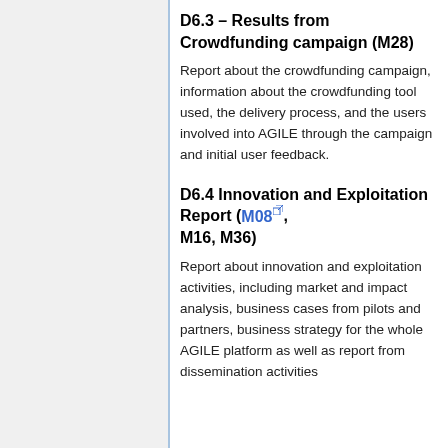D6.3 – Results from Crowdfunding campaign (M28)
Report about the crowdfunding campaign, information about the crowdfunding tool used, the delivery process, and the users involved into AGILE through the campaign and initial user feedback.
D6.4 Innovation and Exploitation Report (M08, M16, M36)
Report about innovation and exploitation activities, including market and impact analysis, business cases from pilots and partners, business strategy for the whole AGILE platform as well as report from dissemination activities